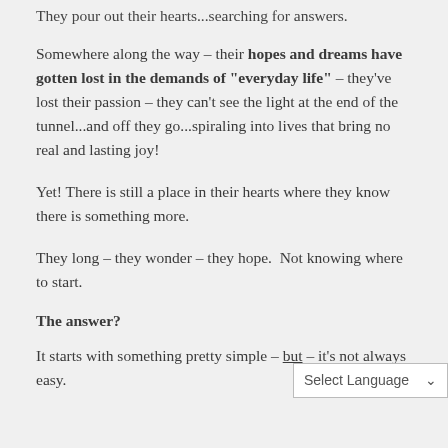They pour out their hearts...searching for answers.
Somewhere along the way – their hopes and dreams have gotten lost in the demands of “everyday life” – they’ve lost their passion – they can’t see the light at the end of the tunnel...and off they go...spiraling into lives that bring no real and lasting joy!
Yet! There is still a place in their hearts where they know there is something more.
They long – they wonder – they hope.  Not knowing where to start.
The answer?
It starts with something pretty simple – but – it’s not always easy.